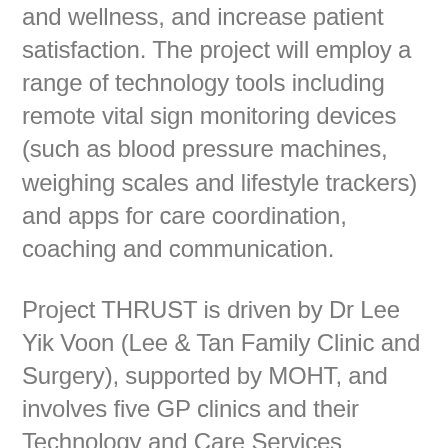and wellness, and increase patient satisfaction. The project will employ a range of technology tools including remote vital sign monitoring devices (such as blood pressure machines, weighing scales and lifestyle trackers) and apps for care coordination, coaching and communication.
Project THRUST is driven by Dr Lee Yik Voon (Lee & Tan Family Clinic and Surgery), supported by MOHT, and involves five GP clinics and their Technology and Care Services Partner, Witz-U, to on-board 500 hypertensive patients to the programme for up to 12 months. This includes patients with other concomitant chronic disease(s)